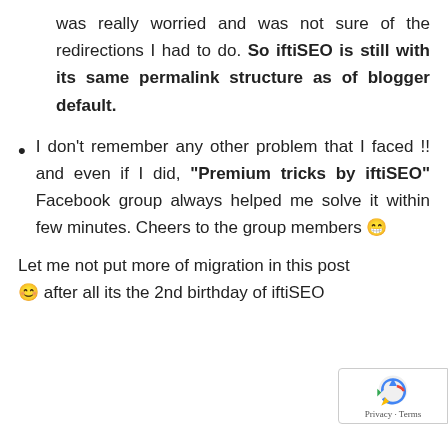was really worried and was not sure of the redirections I had to do. So iftiSEO is still with its same permalink structure as of blogger default.
I don't remember any other problem that I faced !! and even if I did, "Premium tricks by iftiSEO" Facebook group always helped me solve it within few minutes. Cheers to the group members 😁
Let me not put more of migration in this post 😊 after all its the 2nd birthday of iftiSEO